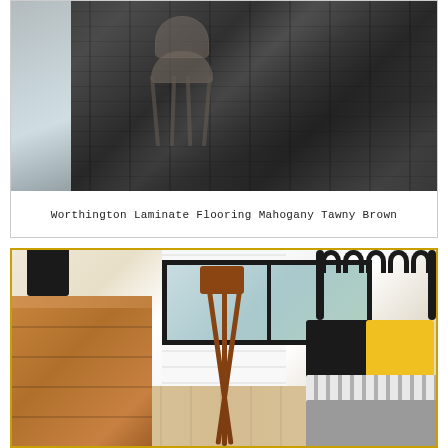[Figure (photo): Dark gray wood laminate flooring with a transparent/acrylic chair. The floor planks are dark charcoal/graphite colored with wood grain texture. A clear acrylic stool/chair sits on the floor. A light blue-gray wall is visible on the left side.]
Worthington Laminate Flooring Mahogany Tawny Brown
[Figure (photo): A bright, modern bedroom with white shiplap walls, large black-framed windows, a wooden dresser with a black alarm clock on top, a vintage wooden tripod/telescope, and a black metal bed frame with scalloped headboard. Bedding is gray and white striped. Light wood floors are visible.]